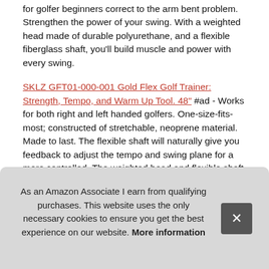for golfer beginners correct to the arm bent problem. Strengthen the power of your swing. With a weighted head made of durable polyurethane, and a flexible fiberglass shaft, you'll build muscle and power with every swing.
SKLZ GFT01-000-001 Gold Flex Golf Trainer: Strength, Tempo, and Warm Up Tool. 48" #ad - Works for both right and left handed golfers. One-size-fits-most; constructed of stretchable, neoprene material. Made to last. The flexible shaft will naturally give you feedback to adjust the tempo and swing plane for a more controlled. The weighted head and flexible shaft assist with weight transfer during the backswing and help align your body properly, and adjust timing.
Proc
Mor
As an Amazon Associate I earn from qualifying purchases. This website uses the only necessary cookies to ensure you get the best experience on our website. More information